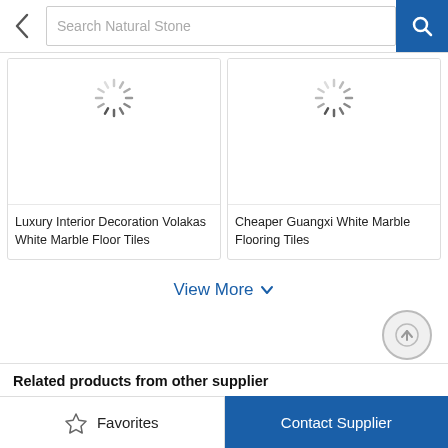[Figure (screenshot): Mobile app search bar with back arrow, 'Search Natural Stone' placeholder, and blue search button]
[Figure (screenshot): Product card with loading spinner: Luxury Interior Decoration Volakas White Marble Floor Tiles]
[Figure (screenshot): Product card with loading spinner: Cheaper Guangxi White Marble Flooring Tiles]
View More
Related products from other supplier
Favorites
Contact Supplier